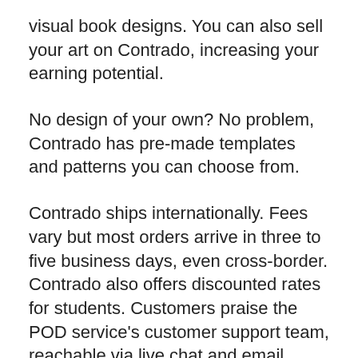visual book designs. You can also sell your art on Contrado, increasing your earning potential.
No design of your own? No problem, Contrado has pre-made templates and patterns you can choose from.
Contrado ships internationally. Fees vary but most orders arrive in three to five business days, even cross-border. Contrado also offers discounted rates for students. Customers praise the POD service's customer support team, reachable via live chat and email.